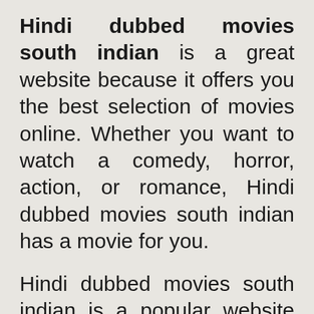Hindi dubbed movies south indian is a great website because it offers you the best selection of movies online. Whether you want to watch a comedy, horror, action, or romance, Hindi dubbed movies south indian has a movie for you.
Hindi dubbed movies south indian is a popular website because it provides you with a legal way of watching movies online. You can download